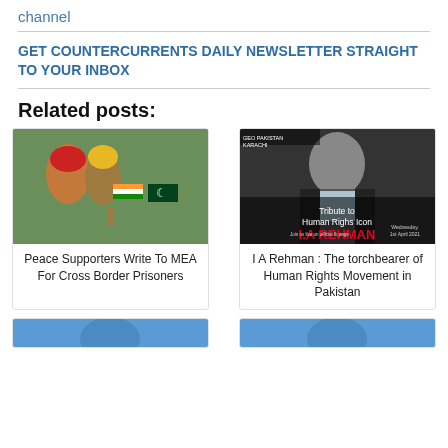channel
GET COUNTERCURRENTS DAILY NEWSLETTER STRAIGHT TO YOUR INBOX
Related posts:
[Figure (photo): Child holding Indian and Pakistani flags]
Peace Supporters Write To MEA For Cross Border Prisoners
[Figure (photo): Tribute to Human Rights Icon I.A Rehman poster with man's photo]
I A Rehman : The torchbearer of Human Rights Movement in Pakistan
[Figure (photo): Bottom left card image (partially visible)]
[Figure (photo): Bottom right card image (partially visible)]